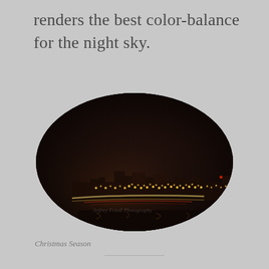renders the best color-balance for the night sky.
[Figure (photo): Night cityscape photograph inside a rounded oval frame. Shows city lights, illuminated buildings, and light trails from cars against a dark night sky. A watermark text is faintly visible in the lower left of the image.]
Christmas Season